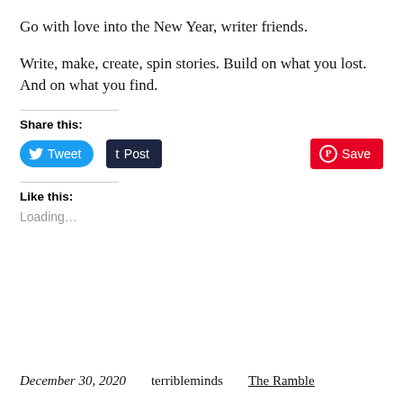Go with love into the New Year, writer friends.
Write, make, create, spin stories. Build on what you lost. And on what you find.
Share this:
[Figure (screenshot): Social share buttons: Tweet (blue rounded), Post (dark navy), Save (red Pinterest)]
Like this:
Loading…
December 30, 2020    terribleminds    The Ramble